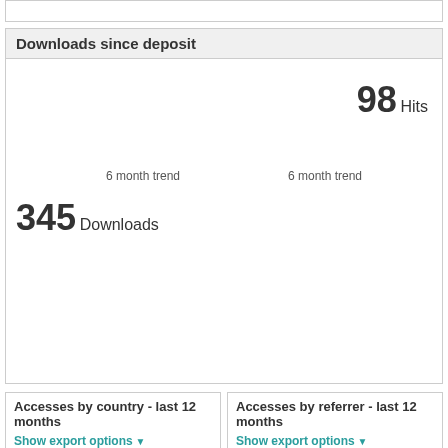Downloads since deposit
98 Hits
6 month trend
6 month trend
345 Downloads
Accesses by country - last 12 months
Show export options
Accesses by referrer - last 12 months
Show export options
Repository staff only
Edit Item
Accessibility | Terms of Use and Disclaimer
SOAS Research Online is powered by Eprints3 and is hosted by ULCC.